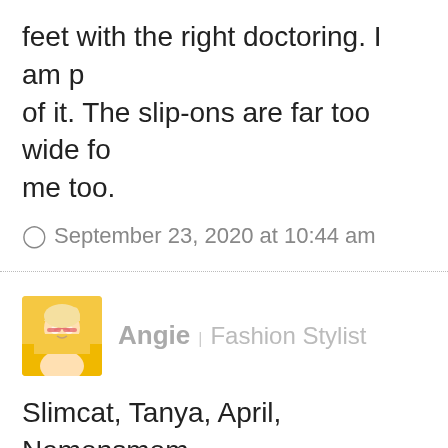feet with the right doctoring. I am p of it. The slip-ons are far too wide fo me too.
September 23, 2020 at 10:44 am
Angie | Fashion Stylist
Slimcat, Tanya, April, Nemonsmom, Cindy and bonnie, a hi-top HIGH FIV
September 23, 2020 at 10:49 am